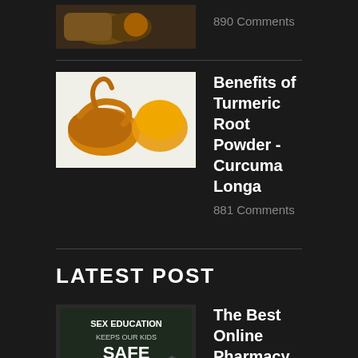[Figure (photo): Thumbnail image of spices/herbs in a bowl]
890 Comments
[Figure (photo): Turmeric root and yellow powder on white background]
Benefits of Turmeric Root Powder - Curcuma Longa
881 Comments
LATEST POST
[Figure (photo): Chalkboard sign reading SEX EDUCATION KEEPS OUR KIDS SAFE]
The Best Online Pharmacy. Buy Cialis Without Prescription - Orders-Cialis.info
Posted On12 Apr 2016
[Figure (photo): Medical illustration of kidneys]
Kidney Patients Advice How to Revive a Fistula
Posted On11 Apr 2016
[Figure (photo): Medical image related to high blood pressure]
High Blood Pressure - Ways to Controle